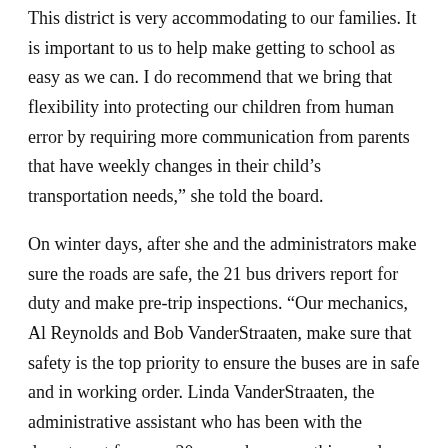This district is very accommodating to our families. It is important to us to help make getting to school as easy as we can. I do recommend that we bring that flexibility into protecting our children from human error by requiring more communication from parents that have weekly changes in their child’s transportation needs,” she told the board.
On winter days, after she and the administrators make sure the roads are safe, the 21 bus drivers report for duty and make pre-trip inspections. “Our mechanics, Al Reynolds and Bob VanderStraaten, make sure that safety is the top priority to ensure the buses are in safe and in working order. Linda VanderStraaten, the administrative assistant who has been with the department for over 20 years, has everything under control. If I have a question, she has an answer. She is like the mother hen to all of us.”
If I have a question, she has an answer. She is like the mother hen to all of us.”